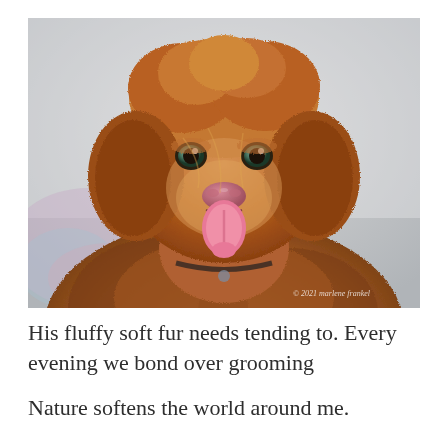[Figure (photo): Close-up portrait of a fluffy brown Labradoodle dog with curly auburn fur, green-grey eyes, pink nose, and tongue out, looking directly at camera. Blurred background with soft light. Watermark reads '© 2021 marlene frankel' in lower right corner.]
His fluffy soft fur needs tending to. Every evening we bond over grooming
Nature softens the world around me.